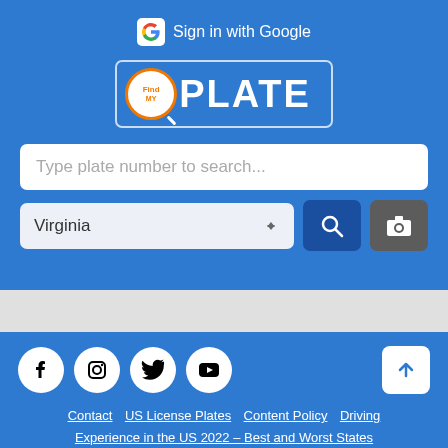[Figure (screenshot): FindPlate website screenshot showing Sign in with Google button, FindPlate logo, a plate number search input, Virginia state dropdown, search and camera buttons, social media icons (Facebook, Instagram, Twitter, YouTube), back-to-top button, and footer navigation links.]
Sign in with Google
Find PLATE
Type plate number to search...
Virginia
Contact  US License Plates  Content Policy  Driving
Experience in the US 2022 – Best and Worst States